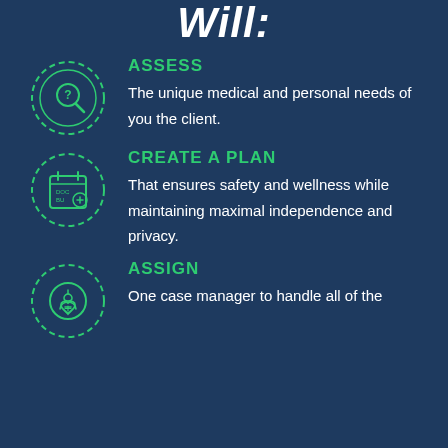Will:
ASSESS
The unique medical and personal needs of you the client.
CREATE A PLAN
That ensures safety and wellness while maintaining maximal independence and privacy.
ASSIGN
One case manager to handle all of the